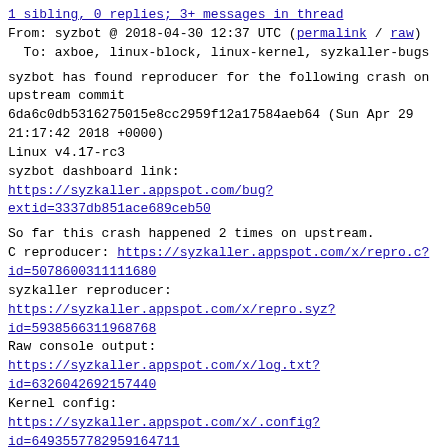1 sibling, 0 replies; 3+ messages in thread
From: syzbot @ 2018-04-30 12:37 UTC (permalink / raw)
  To: axboe, linux-block, linux-kernel, syzkaller-bugs
syzbot has found reproducer for the following crash on upstream commit
6da6c0db5316275015e8cc2959f12a17584aeb64 (Sun Apr 29 21:17:42 2018 +0000)
Linux v4.17-rc3
syzbot dashboard link:
https://syzkaller.appspot.com/bug?extid=3337db851ace689ceb50
So far this crash happened 2 times on upstream.
C reproducer: https://syzkaller.appspot.com/x/repro.c?id=5078600311111680
syzkaller reproducer:
https://syzkaller.appspot.com/x/repro.syz?id=5938566311968768
Raw console output:
https://syzkaller.appspot.com/x/log.txt?id=6326042692157440
Kernel config:
https://syzkaller.appspot.com/x/.config?id=6493557782959164711
compiler: gcc (GCC) 8.0.1 20180413 (experimental)
IMPORTANT: if you fix the bug, please add the following tag to the commit:
Reported-by: